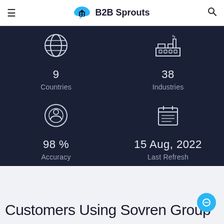B2B Sprouts
[Figure (infographic): Stats infographic on dark background showing: 9 Countries (globe icon), 38 Industries (factory icon), 98% Accuracy (person target icon), 15 Aug, 2022 Last Refresh (calendar icon)]
Customers Using Sovren Group